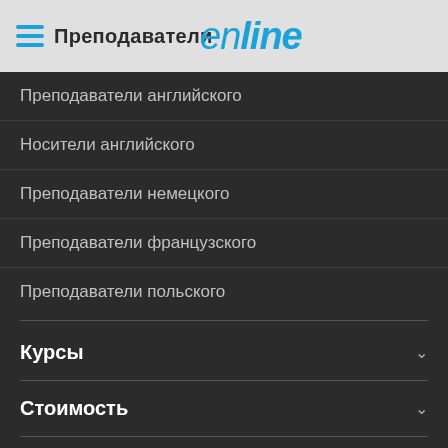Преподаватели | enline
Преподаватели английского
Носители английского
Преподаватели немецкого
Преподаватели французского
Преподаватели польского
Курсы
Стоимость
Школа Enline
Вакансии